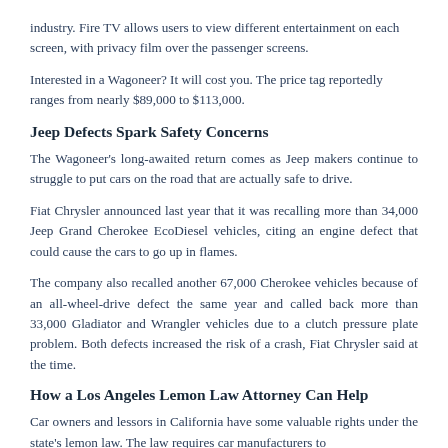industry. Fire TV allows users to view different entertainment on each screen, with privacy film over the passenger screens.
Interested in a Wagoneer? It will cost you. The price tag reportedly ranges from nearly $89,000 to $113,000.
Jeep Defects Spark Safety Concerns
The Wagoneer's long-awaited return comes as Jeep makers continue to struggle to put cars on the road that are actually safe to drive.
Fiat Chrysler announced last year that it was recalling more than 34,000 Jeep Grand Cherokee EcoDiesel vehicles, citing an engine defect that could cause the cars to go up in flames.
The company also recalled another 67,000 Cherokee vehicles because of an all-wheel-drive defect the same year and called back more than 33,000 Gladiator and Wrangler vehicles due to a clutch pressure plate problem. Both defects increased the risk of a crash, Fiat Chrysler said at the time.
How a Los Angeles Lemon Law Attorney Can Help
Car owners and lessors in California have some valuable rights under the state's lemon law. The law requires car manufacturers to